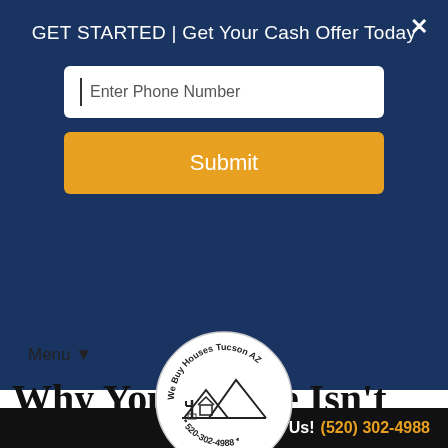GET STARTED | Get Your Cash Offer Today
[Figure (screenshot): Phone number input field with cursor, placeholder text 'Enter Phone Number']
[Figure (illustration): We Buy Houses Tucson AZ logo with cactus and desert scene, phone number 520-302-4988]
Menu ▼
Why Your Home Isn't Selling In...
Call Us! (520) 302-4988